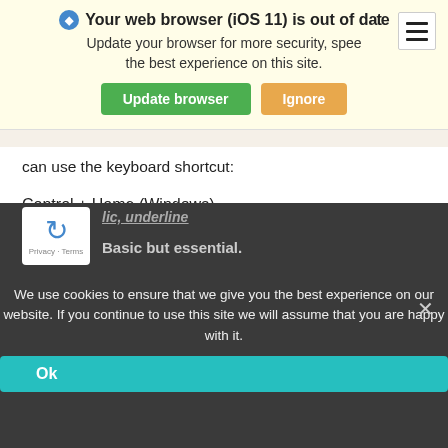[Figure (screenshot): Browser update notification banner with globe icon, title 'Your web browser (iOS 11) is out of date', subtitle text, and two buttons: 'Update browser' (green) and 'Ignore' (orange/tan)]
can use the keyboard shortcut:
Control + Home (Windows)
Or
Fn + Control + Left arrow (Mac)
[Figure (screenshot): Cookie consent banner with dark background, text about cookies, an Ok button in teal, and a close X button. Also shows partial reCAPTCHA widget and italic underlined text and 'Basic but essential.' text.]